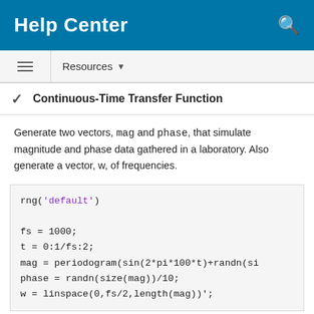Help Center
Continuous-Time Transfer Function
Generate two vectors, mag and phase, that simulate magnitude and phase data gathered in a laboratory. Also generate a vector, w, of frequencies.
rng('default')

fs = 1000;
t = 0:1/fs:2;
mag = periodogram(sin(2*pi*100*t)+randn(si
phase = randn(size(mag))/10;
w = linspace(0,fs/2,length(mag))';
Use invfreqs to convert the data into a continuous-time transfer function. Plot the result.
[b,a] = invfreqs(mag.*exp(1i*phase)1:2,0